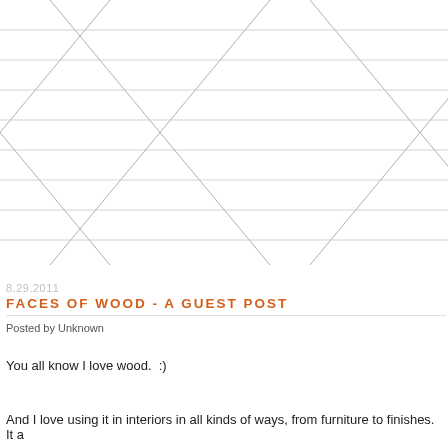[Figure (illustration): Decorative header graphic with intersecting diagonal lines forming X patterns across horizontal parallel lines on a white background, in light gray tones.]
8.29.2011
FACES OF WOOD - A GUEST POST
Posted by Unknown
You all know I love wood.  :)
And I love using it in interiors in all kinds of ways, from furniture to finishes.  It a